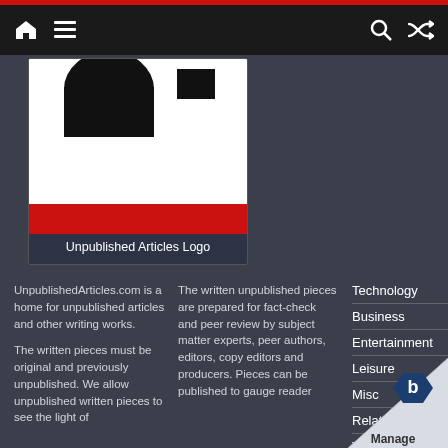Navigation bar with home, menu, search, and shuffle icons
[Figure (logo): Unpublished Articles logo — black silhouette on white background with red strip]
Unpublished Articles Logo
UnpublishedArticles.com is a home for unpublished articles and other writing works.

The written pieces must be original and previously unpublished. We allow unpublished written pieces to see the light of
The written unpublished pieces are prepared for fact-check and peer review by subject matter experts, peer authors, editors, copy editors and producers. Pieces can be published to gauge reader
Technology
Business
Entertainment
Leisure
Misc
Relations
Travel
Contact Us